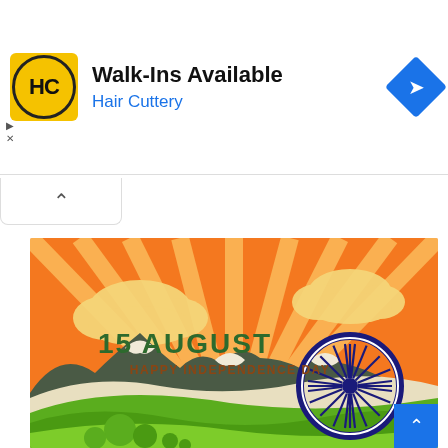[Figure (logo): Hair Cuttery advertisement banner with HC logo, Walk-Ins Available text, navigation diamond icon]
[Figure (illustration): Indian Independence Day illustration with orange/green tricolor colors, mountains, clouds, Ashoka Chakra wheel, text reading 15 AUGUST HAPPY INDEPENDENCE DAY]